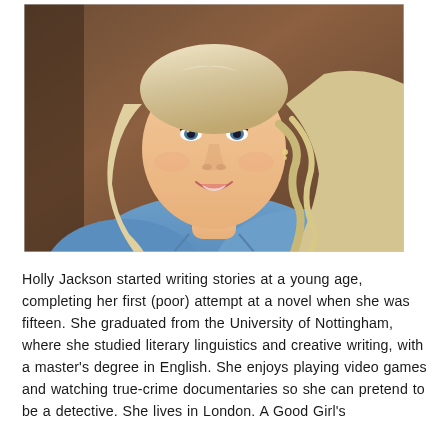[Figure (photo): Portrait photo of Holly Jackson, a young blonde woman with wavy hair, wearing a denim jacket, smiling at the camera against a warm brown background.]
Holly Jackson started writing stories at a young age, completing her first (poor) attempt at a novel when she was fifteen. She graduated from the University of Nottingham, where she studied literary linguistics and creative writing, with a master's degree in English. She enjoys playing video games and watching true-crime documentaries so she can pretend to be a detective. She lives in London. A Good Girl's Guide to Murder is her debut novel.